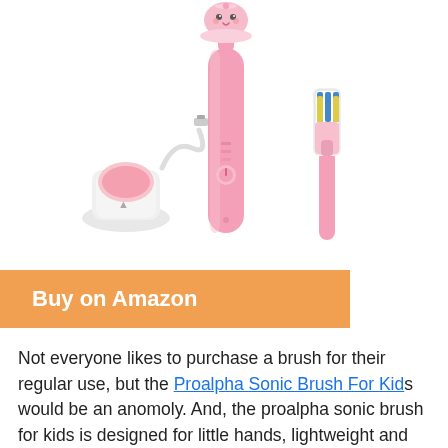[Figure (photo): Pink electric toothbrush for kids (Proalpha Sonic Brush) shown with charging base/stand, USB charging cable, and a replacement brush head. The toothbrush has a cartoon face design on top.]
Buy on Amazon
Not everyone likes to purchase a brush for their regular use, but the Proalpha Sonic Brush For Kids would be an anomoly. And, the proalpha sonic brush for kids is designed for little hands, lightweight and easy to grip. Provided a tiny and soft brush head, kids will enjoy a safer and more